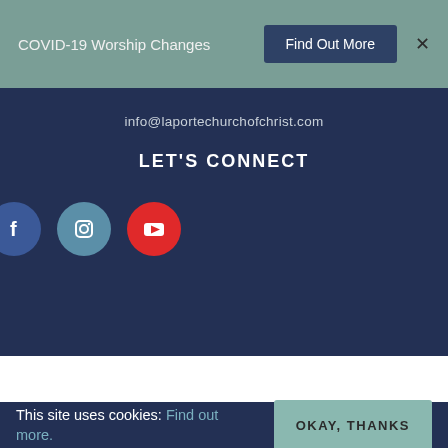COVID-19 Worship Changes  Find Out More  ×
info@laportechurchofchrist.com
LET'S CONNECT
[Figure (infographic): Three social media icon circles: Facebook (blue), Instagram (steel blue), YouTube (red)]
This site uses cookies: Find out more.
OKAY, THANKS